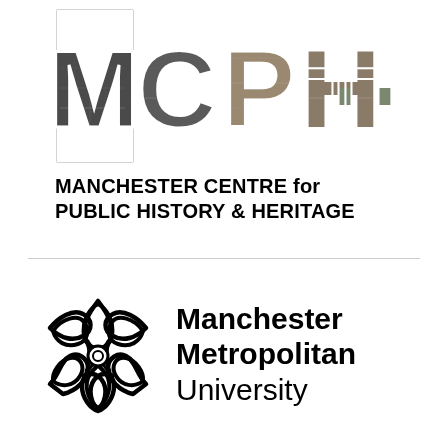[Figure (logo): MCPHH logo — large stylized letters M, C, P, H, H filled with historic photographic images of Manchester buildings and street scenes]
MANCHESTER CENTRE for PUBLIC HISTORY & HERITAGE
[Figure (logo): Manchester Metropolitan University logo — black outline flower/star emblem and bold text 'Manchester Metropolitan University']